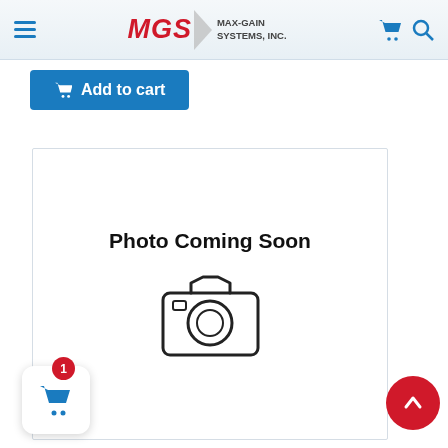MGS MAX-GAIN SYSTEMS, INC.
Add to cart
[Figure (illustration): Photo Coming Soon placeholder image with a camera icon outline and the text 'Photo Coming Soon']